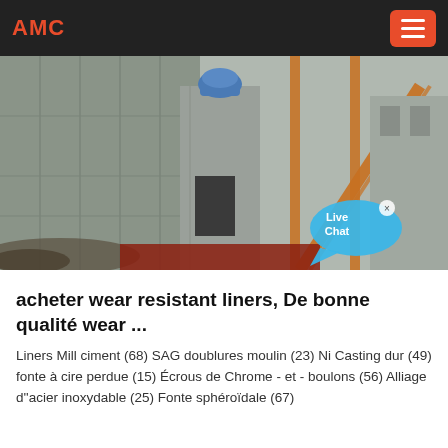AMC
[Figure (photo): Industrial construction site with concrete structures, a blue motor/machine on top, an orange metal scaffold/conveyor on the right side, and a 'Live Chat' bubble overlay in the bottom-right corner.]
acheter wear resistant liners, De bonne qualité wear ...
Liners Mill ciment (68) SAG doublures moulin (23) Ni Casting dur (49) fonte à cire perdue (15) Écrous de Chrome - et - boulons (56) Alliage d''acier inoxydable (25) Fonte sphéroïdale (67)